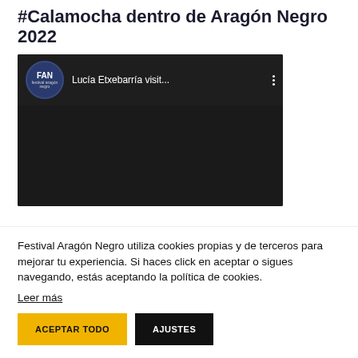#Calamocha dentro de Aragón Negro 2022
[Figure (screenshot): Embedded YouTube video thumbnail showing FAN logo and title 'Lucía Etxebarría visit...' with dark background and three-dot menu icon]
Festival Aragón Negro utiliza cookies propias y de terceros para mejorar tu experiencia. Si haces click en aceptar o sigues navegando, estás aceptando la política de cookies.
Leer más
ACEPTAR TODO   AJUSTES